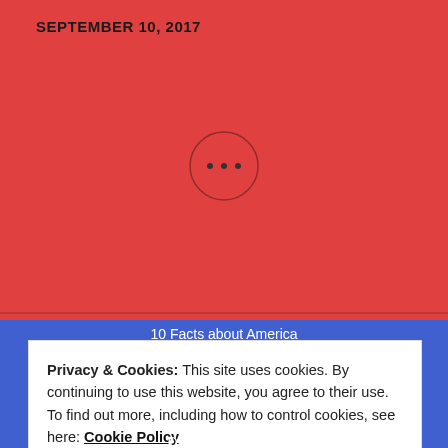SEPTEMBER 10, 2017
[Figure (illustration): Circle with three dots (ellipsis) on red background]
Categories
[Figure (screenshot): Select Category dropdown input]
10 Facts about America
Privacy & Cookies: This site uses cookies. By continuing to use this website, you agree to their use.
To find out more, including how to control cookies, see here: Cookie Policy
Close and accept
Driving in America